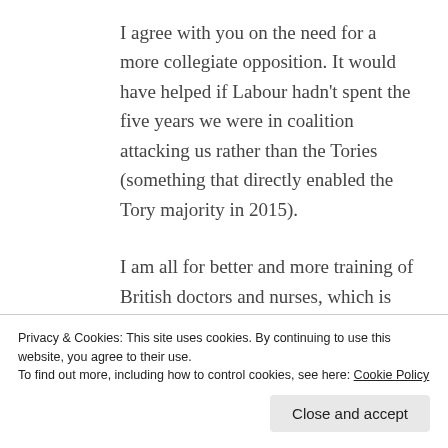I agree with you on the need for a more collegiate opposition. It would have helped if Labour hadn't spent the five years we were in coalition attacking us rather than the Tories (something that directly enabled the Tory majority in 2015).
I am all for better and more training of British doctors and nurses, which is sorely needed. The way to sort out brain drain from…
Privacy & Cookies: This site uses cookies. By continuing to use this website, you agree to their use. To find out more, including how to control cookies, see here: Cookie Policy
Close and accept